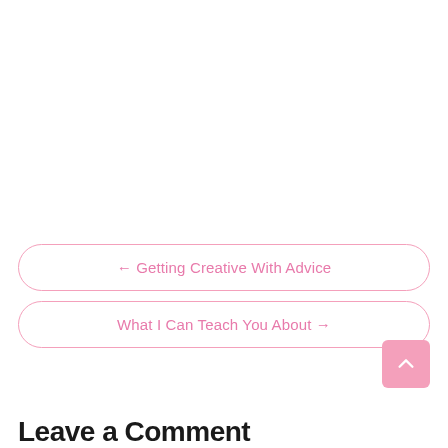← Getting Creative With Advice
What I Can Teach You About →
Leave a Comment